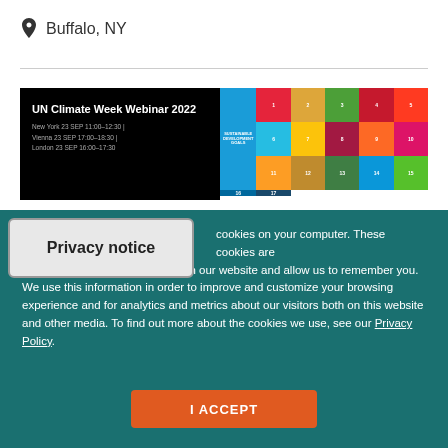Buffalo, NY
[Figure (screenshot): UN Climate Week Webinar 2022 event card on black background with dates: New York 23 SEP 11:00-12:30 | Vienna 23 SEP 17:00-18:30 | London 23 SEP 16:00-17:30]
[Figure (infographic): UN Sustainable Development Goals grid showing 17 colorful SDG icons]
Privacy notice
cookies on your computer. These cookies are nation about how you interact with our website and allow us to remember you. We use this information in order to improve and customize your browsing experience and for analytics and metrics about our visitors both on this website and other media. To find out more about the cookies we use, see our Privacy Policy.
I ACCEPT